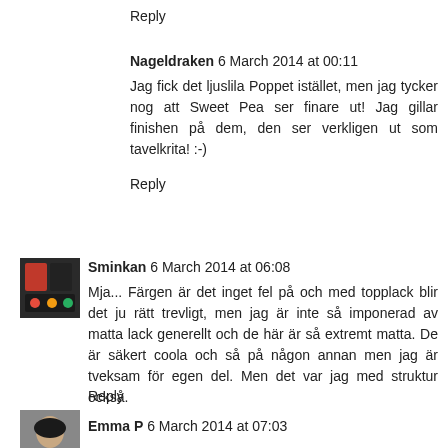Reply
Nageldraken 6 March 2014 at 00:11
Jag fick det ljuslila Poppet istället, men jag tycker nog att Sweet Pea ser finare ut! Jag gillar finishen på dem, den ser verkligen ut som tavelkrita! :-)
Reply
Sminkan 6 March 2014 at 06:08
Mja... Färgen är det inget fel på och med topplack blir det ju rätt trevligt, men jag är inte så imponerad av matta lack generellt och de här är så extremt matta. De är säkert coola och så på någon annan men jag är tveksam för egen del. Men det var jag med struktur också.
Reply
Emma P 6 March 2014 at 07:03